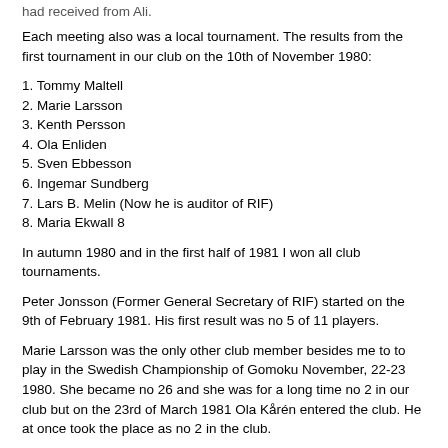had received from Ali.
Each meeting also was a local tournament. The results from the first tournament in our club on the 10th of November 1980:
1. Tommy Maltell
2. Marie Larsson
3. Kenth Persson
4. Ola Enliden
5. Sven Ebbesson
6. Ingemar Sundberg
7. Lars B. Melin (Now he is auditor of RIF)
8. Maria Ekwall 8
In autumn 1980 and in the first half of 1981 I won all club tournaments.
Peter Jonsson (Former General Secretary of RIF) started on the 9th of February 1981. His first result was no 5 of 11 players.
Marie Larsson was the only other club member besides me to to play in the Swedish Championship of Gomoku November, 22-23 1980. She became no 26 and she was for a long time no 2 in our club but on the 23rd of March 1981 Ola Kårén entered the club. He at once took the place as no 2 in the club.
On the 31st of August 1981 Christer Lorentsson became a member.